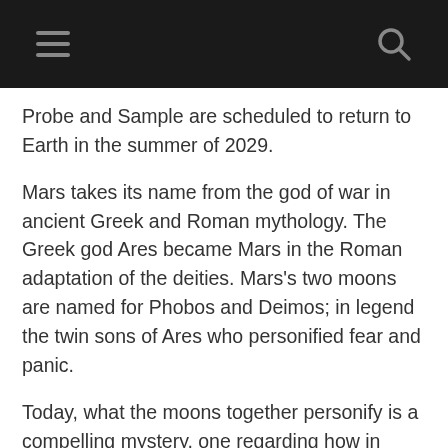Probe and Sample are scheduled to return to Earth in the summer of 2029.
Mars takes its name from the god of war in ancient Greek and Roman mythology. The Greek god Ares became Mars in the Roman adaptation of the deities. Mars's two moons are named for Phobos and Deimos; in legend the twin sons of Ares who personified fear and panic.
Today, what the moons together personify is a compelling mystery, one regarding how in reality they came to be.
Both Martian moons are small, with Phobos's average diameter measuring 22.2km, while the